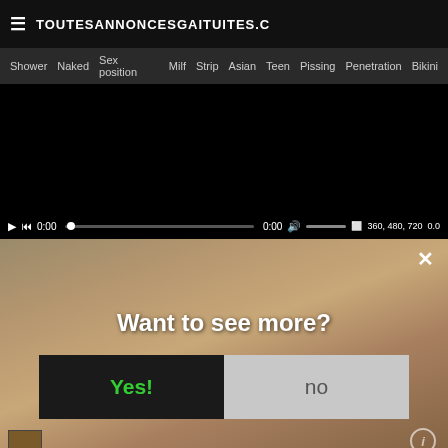TOUTESANNONCESGAITUITES.C
Shower  Naked  Sex position  Milf  Strip  Asian  Teen  Pissing  Penetration  Bikini
[Figure (screenshot): Video player with black screen and playback controls showing 0:00 timestamp, progress bar, volume control, quality options 360, 480, 720, and speed 0.0]
[Figure (screenshot): Adult content popup overlay with blurred background image asking 'Want to see more?' with Yes! button in green on dark background and 'no' button on grey background, with X close button]
Want to see more?
Yes!
no